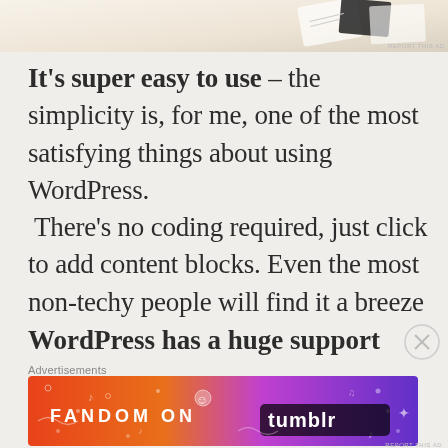[Figure (photo): Partial view of an advertisement or product image at the top of the page with a 'REPORT THIS AD' label]
It's super easy to use – the simplicity is, for me, one of the most satisfying things about using WordPress. There's no coding required, just click to add content blocks. Even the most non-techy people will find it a breeze
WordPress has a huge support
Advertisements
[Figure (infographic): Fandom on Tumblr advertisement banner with orange-to-purple gradient and decorative icons]